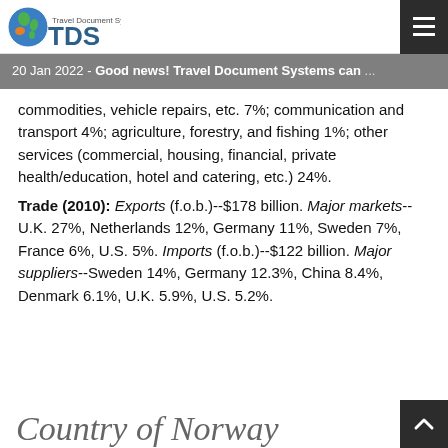TDS Travel Document Systems
20 Jan 2022 - Good news! Travel Document Systems can ...
commodities, vehicle repairs, etc. 7%; communication and transport 4%; agriculture, forestry, and fishing 1%; other services (commercial, housing, financial, private health/education, hotel and catering, etc.) 24%. Trade (2010): Exports (f.o.b.)--$178 billion. Major markets--U.K. 27%, Netherlands 12%, Germany 11%, Sweden 7%, France 6%, U.S. 5%. Imports (f.o.b.)--$122 billion. Major suppliers--Sweden 14%, Germany 12.3%, China 8.4%, Denmark 6.1%, U.K. 5.9%, U.S. 5.2%.